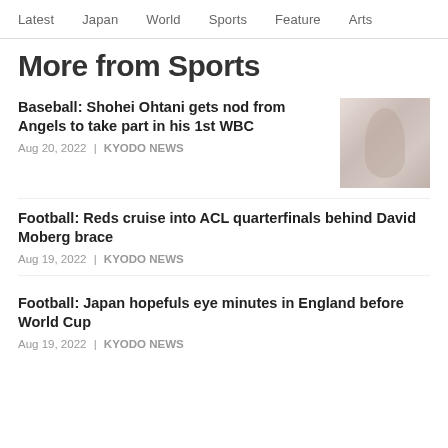Latest  Japan  World  Sports  Feature  Arts
More from Sports
Baseball: Shohei Ohtani gets nod from Angels to take part in his 1st WBC
Aug 20, 2022 | KYODO NEWS
[Figure (photo): Photo of Shohei Ohtani smiling, wearing an Angels uniform]
Football: Reds cruise into ACL quarterfinals behind David Moberg brace
Aug 19, 2022 | KYODO NEWS
Football: Japan hopefuls eye minutes in England before World Cup
Aug 19, 2022 | KYODO NEWS